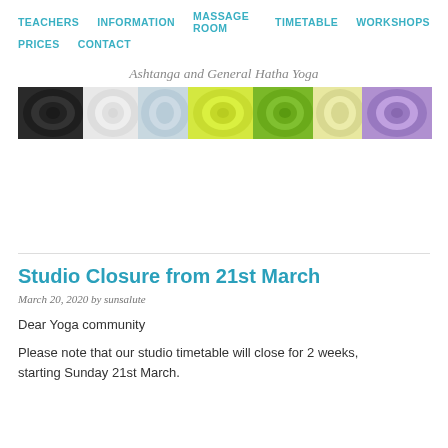TEACHERS  INFORMATION  MASSAGE ROOM  TIMETABLE  WORKSHOPS  PRICES  CONTACT
Ashtanga and General Hatha Yoga
[Figure (photo): A row of colorful rolled yoga mats including dark, white, green, yellow, and purple mats on a light background.]
Studio Closure from 21st March
March 20, 2020 by sunsalute
Dear Yoga community
Please note that our studio timetable will close for 2 weeks, starting Sunday 21st March.